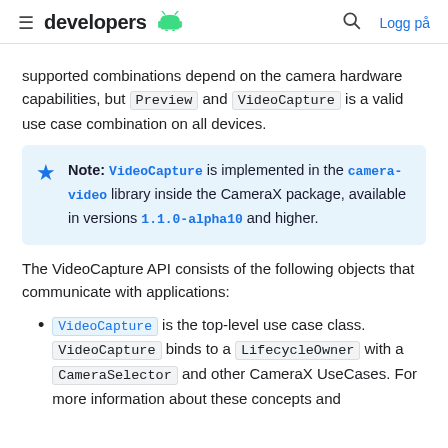developers [android logo] [search] Logg på
supported combinations depend on the camera hardware capabilities, but Preview and VideoCapture is a valid use case combination on all devices.
Note: VideoCapture is implemented in the camera-video library inside the CameraX package, available in versions 1.1.0-alpha10 and higher.
The VideoCapture API consists of the following objects that communicate with applications:
VideoCapture is the top-level use case class. VideoCapture binds to a LifecycleOwner with a CameraSelector and other CameraX UseCases. For more information about these concepts and